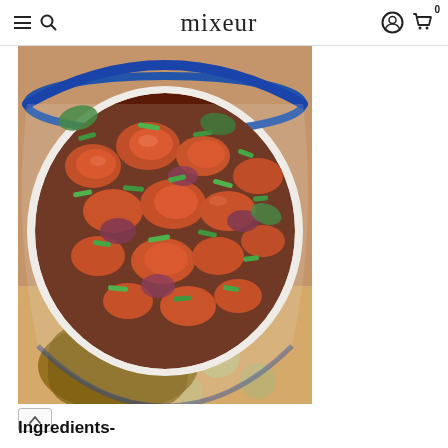mixeur
[Figure (photo): A white bowl with blue rim held by a person, filled with spicy Indo-Chinese cauliflower/gobi manchurian dish garnished with green onions, with a patterned background visible below.]
Ingredients-